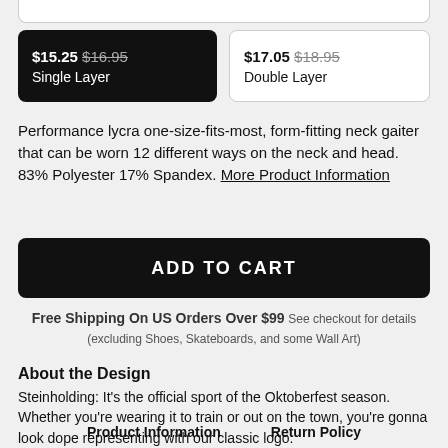$15.25 $16.95 Single Layer
$17.05 $18.95 Double Layer
Performance lycra one-size-fits-most, form-fitting neck gaiter that can be worn 12 different ways on the neck and head. 83% Polyester 17% Spandex. More Product Information
ADD TO CART
Free Shipping On US Orders Over $99 See checkout for details (excluding Shoes, Skateboards, and some Wall Art)
About the Design
Steinholding: It's the official sport of the Oktoberfest season. Whether you're wearing it to train or out on the town, you're gonna look dope representing with our classic logo.
Product Information   Return Policy